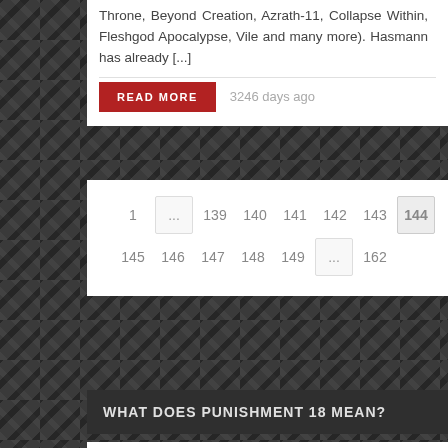Throne, Beyond Creation, Azrath-11, Collapse Within, Fleshgod Apocalypse, Vile and many more). Hasmann has already [...]
READ MORE   3246 days ago
1 ... 139 140 141 142 143 144 145 146 147 148 149 ... 162
WHAT DOES PUNISHMENT 18 MEAN?
Punishment 18 Records's name was inspired by two of the founders' favourite songs by Megadeth, that is to say "Holy Wars (The Punishment Due)" and "Hangar 18". This is the origin of the label's name, metal to the bones.